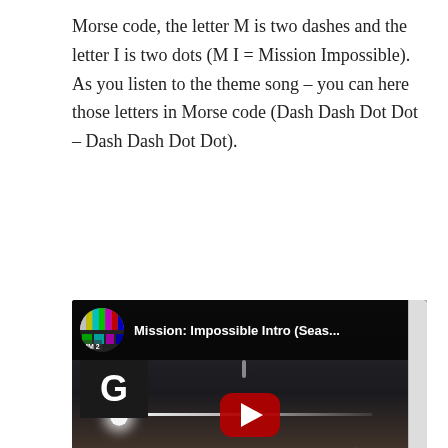Morse code, the letter M is two dashes and the letter I is two dots (M I = Mission Impossible). As you listen to the theme song – you can here those letters in Morse code (Dash Dash Dot Dot – Dash Dash Dot Dot).
[Figure (screenshot): YouTube video thumbnail for 'Mission: Impossible Intro (Seas...' showing a dark scene with a play button, a color test card channel icon labeled MM2, a G rating box, a horizontal light beam with glow, and a MeTV.com watermark.]
Schifrin won two Grammy Awards for music from the show.